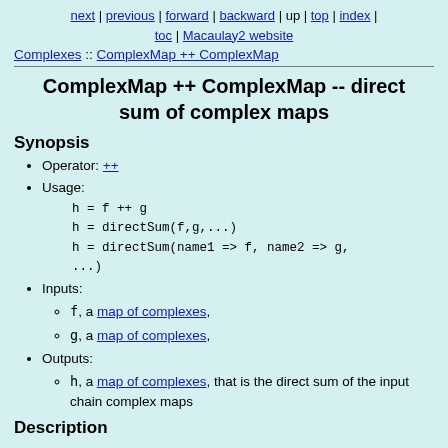next | previous | forward | backward | up | top | index | toc | Macaulay2 website
Complexes :: ComplexMap ++ ComplexMap
ComplexMap ++ ComplexMap -- direct sum of complex maps
Synopsis
Operator: ++
Usage:
h = f ++ g
h = directSum(f,g,...)
h = directSum(name1 => f, name2 => g, ...)
Inputs:
f, a map of complexes,
g, a map of complexes,
Outputs:
h, a map of complexes, that is the direct sum of the input chain complex maps
Description